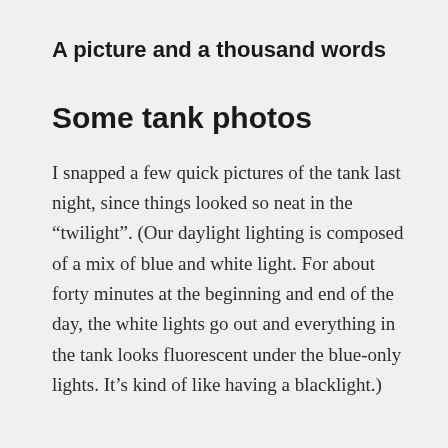A picture and a thousand words
Some tank photos
I snapped a few quick pictures of the tank last night, since things looked so neat in the “twilight”. (Our daylight lighting is composed of a mix of blue and white light. For about forty minutes at the beginning and end of the day, the white lights go out and everything in the tank looks fluorescent under the blue-only lights. It’s kind of like having a blacklight.)